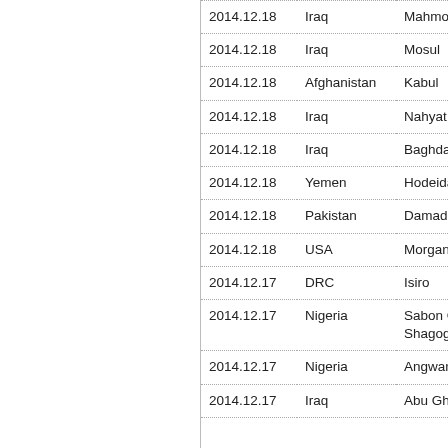| Date | Country | City |
| --- | --- | --- |
| 2014.12.18 | Iraq | Mahmoudiya |
| 2014.12.18 | Iraq | Mosul |
| 2014.12.18 | Afghanistan | Kabul |
| 2014.12.18 | Iraq | Nahyat al-Alam |
| 2014.12.18 | Iraq | Baghdad |
| 2014.12.18 | Yemen | Hodeida |
| 2014.12.18 | Pakistan | Damadola |
| 2014.12.18 | USA | Morganton, NC |
| 2014.12.17 | DRC | Isiro |
| 2014.12.17 | Nigeria | Sabon Gida Shagogo |
| 2014.12.17 | Nigeria | Angwan Dauda |
| 2014.12.17 | Iraq | Abu Ghraib |